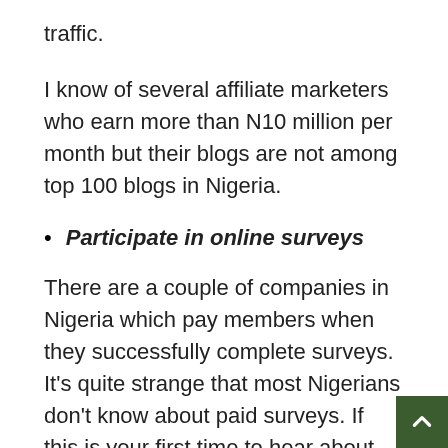traffic.
I know of several affiliate marketers who earn more than N10 million per month but their blogs are not among top 100 blogs in Nigeria.
Participate in online surveys
There are a couple of companies in Nigeria which pay members when they successfully complete surveys. It’s quite strange that most Nigerians don’t know about paid surveys. If this is your first time to hear about paid online surveys, please search for companies offering this service and register immediately. The